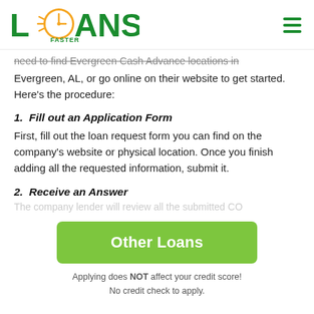LOANS FASTER
need to find Evergreen Cash Advance locations in Evergreen, AL, or go online on their website to get started. Here's the procedure:
1. Fill out an Application Form
First, fill out the loan request form you can find on the company's website or physical location. Once you finish adding all the requested information, submit it.
2. Receive an Answer
[Figure (other): Green button labeled 'Other Loans']
Applying does NOT affect your credit score!
No credit check to apply.